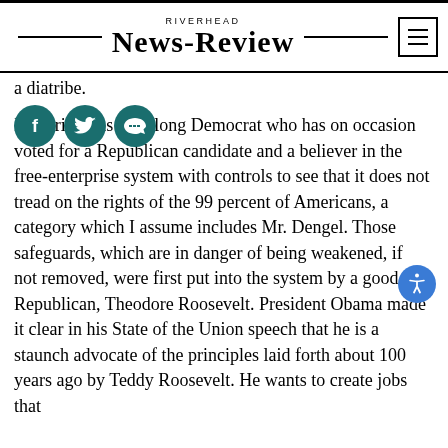RIVERHEAD NEWS-REVIEW
a diatribe.
I'm writing as a lifelong Democrat who has on occasion voted for a Republican candidate and a believer in the free-enterprise system with controls to see that it does not tread on the rights of the 99 percent of Americans, a category which I assume includes Mr. Dengel. Those safeguards, which are in danger of being weakened, if not removed, were first put into the system by a good Republican, Theodore Roosevelt. President Obama made it clear in his State of the Union speech that he is a staunch advocate of the principles laid forth about 100 years ago by Teddy Roosevelt. He wants to create jobs that